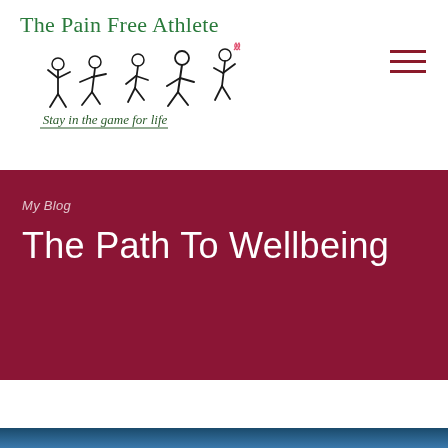[Figure (logo): The Pain Free Athlete logo with stick figures of athletes running, cycling, playing sports, with tagline 'Stay in the game for life']
[Figure (other): Hamburger menu icon (three horizontal lines) in dark red/maroon color]
My Blog
The Path To Wellbeing
[Figure (photo): Partial blue image visible at bottom of page]